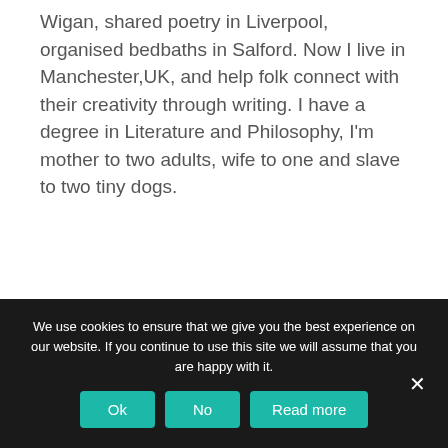Wigan, shared poetry in Liverpool, organised bedbaths in Salford. Now I live in Manchester,UK, and help folk connect with their creativity through writing. I have a degree in Literature and Philosophy, I'm mother to two adults, wife to one and slave to two tiny dogs.
We use cookies to ensure that we give you the best experience on our website. If you continue to use this site we will assume that you are happy with it.